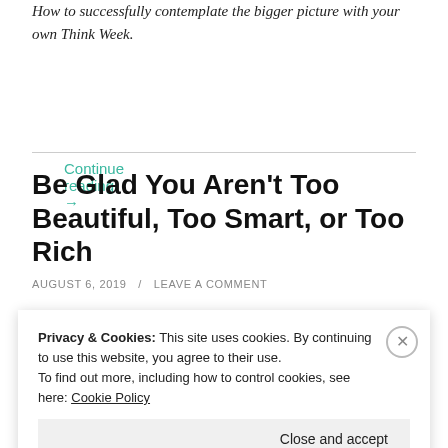How to successfully contemplate the bigger picture with your own Think Week.
Continue reading →
Be Glad You Aren't Too Beautiful, Too Smart, or Too Rich
AUGUST 6, 2019 / LEAVE A COMMENT
Privacy & Cookies: This site uses cookies. By continuing to use this website, you agree to their use.
To find out more, including how to control cookies, see here: Cookie Policy
Close and accept